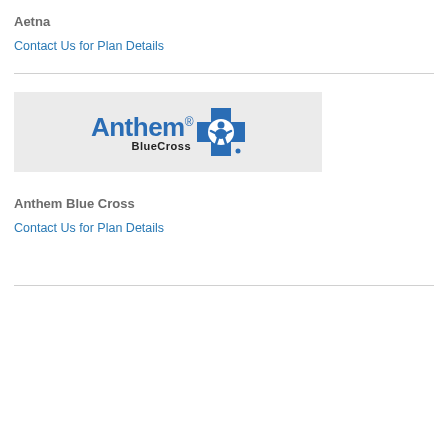Aetna
Contact Us for Plan Details
[Figure (logo): Anthem BlueCross logo on a light gray background. Shows 'Anthem.' in blue bold text with a registered trademark symbol, 'BlueCross' in smaller black bold text below, and a blue cross shield icon to the right.]
Anthem Blue Cross
Contact Us for Plan Details